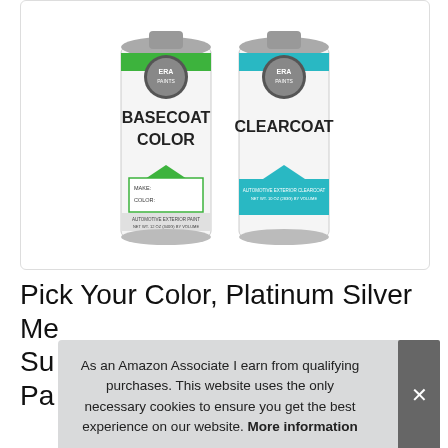[Figure (photo): Two ERA Paints spray paint cans side by side. Left can has green accents labeled BASECOAT COLOR with MAKE and COLOR fields. Right can has teal/blue accents labeled CLEARCOAT. Both show automotive exterior paint labeling.]
Pick Your Color, Platinum Silver Me... Su... Pa...
As an Amazon Associate I earn from qualifying purchases. This website uses the only necessary cookies to ensure you get the best experience on our website. More information